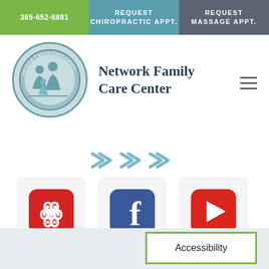365-652-6881 | REQUEST CHIROPRACTIC APPT. | REQUEST MASSAGE APPT.
[Figure (logo): Network Family Care Center circular logo with family silhouette]
Network Family Care Center
[Figure (illustration): Three double chevron arrows pointing right in teal/blue color]
[Figure (illustration): Three social media icons: Yelp (red), Facebook (blue), YouTube (red)]
Accessibility